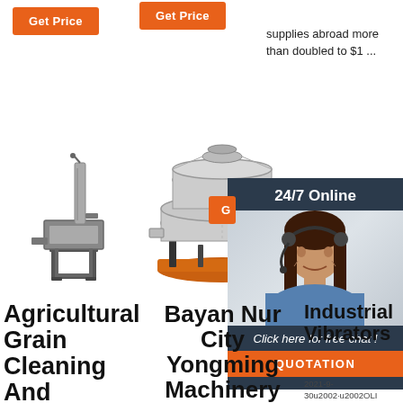[Figure (screenshot): Orange 'Get Price' button (top left)]
[Figure (screenshot): Orange 'Get Price' button (top center)]
supplies abroad more than doubled to $1 ...
[Figure (photo): Industrial grain cleaning machine - small screw conveyor hopper machine]
[Figure (photo): Industrial circular vibrating sieve machine on orange base]
[Figure (screenshot): 24/7 Online customer service chat widget with female agent wearing headset, 'Click here for free chat!' text, and QUOTATION button]
Agricultural Grain Cleaning And
Bayan Nur City Yongming Machinery
Industrial Vibrators
2021-9-30u2002·u2002OLI